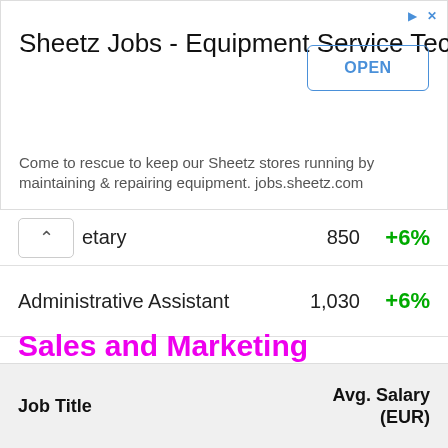[Figure (screenshot): Advertisement banner for Sheetz Jobs - Equipment Service Techs with an OPEN button]
| Job Title | Avg. Salary (EUR) | Change |
| --- | --- | --- |
| ...etary | 850 | +6% |
| Administrative Assistant | 1,030 | +6% |
| Personal Assistant | 970 | +6% |
| Receptionist | 910 | +6% |
| Librarian | 1,370 | +6% |
Sales and Marketing
| Job Title | Avg. Salary (EUR) |
| --- | --- |